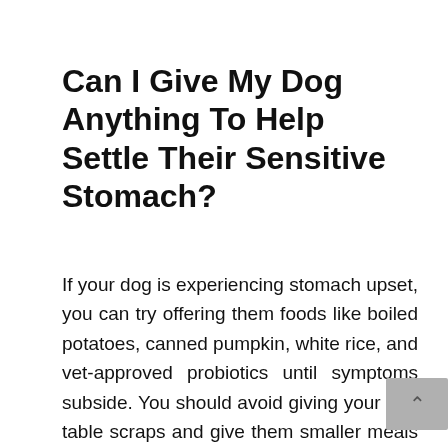Can I Give My Dog Anything To Help Settle Their Sensitive Stomach?
If your dog is experiencing stomach upset, you can try offering them foods like boiled potatoes, canned pumpkin, white rice, and vet-approved probiotics until symptoms subside. You should avoid giving your dog table scraps and give them smaller meals throughout the dog if eating quickly is a problem for them.